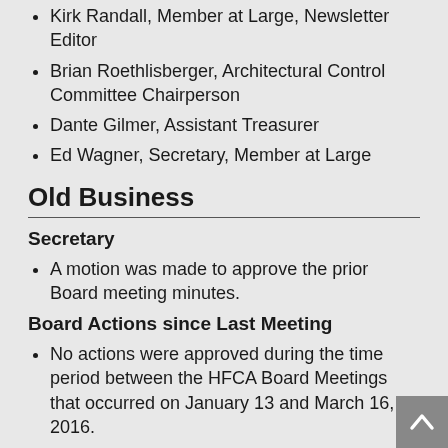Kirk Randall, Member at Large, Newsletter Editor
Brian Roethlisberger, Architectural Control Committee Chairperson
Dante Gilmer, Assistant Treasurer
Ed Wagner, Secretary, Member at Large
Old Business
Secretary
A motion was made to approve the prior Board meeting minutes.
Board Actions since Last Meeting
No actions were approved during the time period between the HFCA Board Meetings that occurred on January 13 and March 16, 2016.